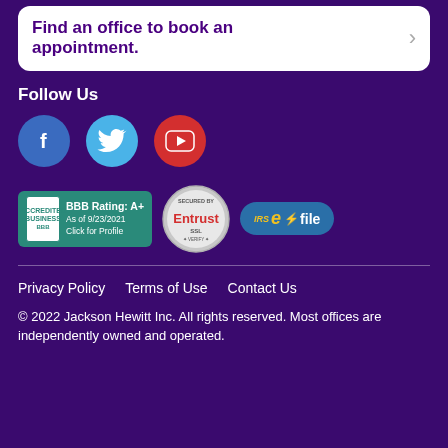Find an office to book an appointment.
Follow Us
[Figure (illustration): Social media icons: Facebook (blue circle with f), Twitter (light blue circle with bird), YouTube (red circle with play button)]
[Figure (illustration): BBB Accredited Business badge with rating A+ as of 9/23/2021, Entrust SSL seal, IRS e-file logo]
Privacy Policy    Terms of Use    Contact Us
© 2022 Jackson Hewitt Inc. All rights reserved. Most offices are independently owned and operated.